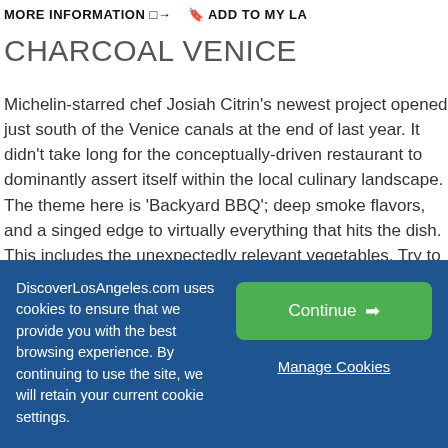MORE INFORMATION → ADD TO MY LA
CHARCOAL VENICE
Michelin-starred chef Josiah Citrin's newest project opened just south of the Venice canals at the end of last year. It didn't take long for the conceptually-driven restaurant to dominantly assert itself within the local culinary landscape. The theme here is 'Backyard BBQ'; deep smoke flavors, and a singed edge to virtually everything that hits the dish. This includes the unexpectedly relevant vegetables. Try to remember that as you get lost in the dozen or so protein options coaxing you with the promise of house made condiments like paprika mustard chimichurri, and red wine chipotle sauce. Back to those veggies. The coal roasted carrots, caked in herbs, honey and sheep's...
DiscoverLosAngeles.com uses cookies to ensure that we provide you with the best browsing experience. By continuing to use the site, we will retain your current cookie settings.
Continue → Manage Cookies